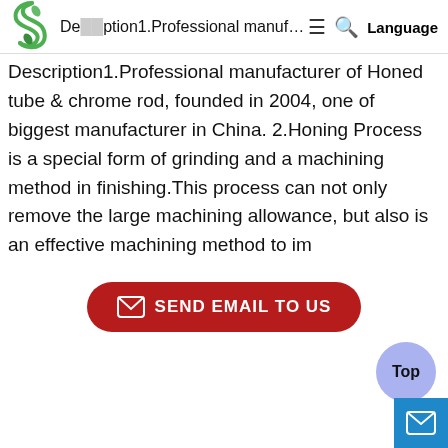Description1.Professional manufacturer of Honed tube
[Figure (logo): Green leaf S-shaped logo]
Description1.Professional manufacturer of Honed tube & chrome rod, founded in 2004, one of biggest manufacturer in China. 2.Honing Process is a special form of grinding and a machining method in finishing.This process can not only remove the large machining allowance, but also is an effective machining method to im
[Figure (other): Red rounded rectangle button with envelope icon and text SEND EMAIL TO US]
[Figure (other): Purple circular Top button and blue mail icon button in bottom right corner]